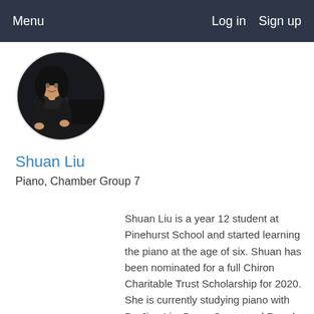Menu   Log in   Sign up
[Figure (photo): Circular profile photo of Shuan Liu, a young woman in a black dress seated at a piano against a dark background]
Shuan Liu
Piano, Chamber Group 7
Shuan Liu is a year 12 student at Pinehurst School and started learning the piano at the age of six. Shuan has been nominated for a full Chiron Charitable Trust Scholarship for 2020. She is currently studying piano with Dr. Jian Liu, Bryan Sayer, and Rae de Lisle. Shuan has won numerous...
Read More →